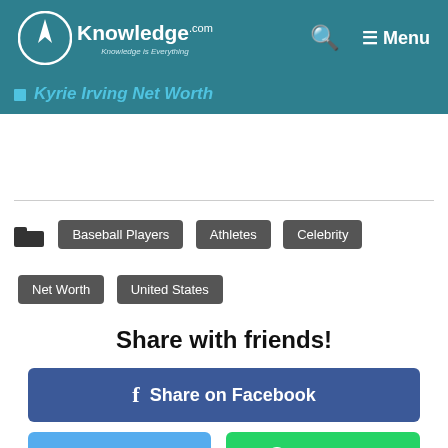AKnowledge.com — Knowledge is Everything — Menu
Kyrie Irving Net Worth
Baseball Players
Athletes
Celebrity
Net Worth
United States
Share with friends!
f Share on Facebook
Twitter
WhatsApp